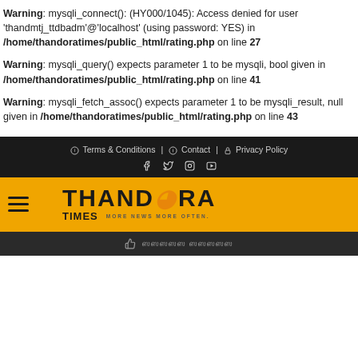Warning: mysqli_connect(): (HY000/1045): Access denied for user 'thandmtj_ttdbadm'@'localhost' (using password: YES) in /home/thandoratimes/public_html/rating.php on line 27
Warning: mysqli_query() expects parameter 1 to be mysqli, bool given in /home/thandoratimes/public_html/rating.php on line 41
Warning: mysqli_fetch_assoc() expects parameter 1 to be mysqli_result, null given in /home/thandoratimes/public_html/rating.php on line 43
Terms & Conditions | Contact | Privacy Policy
[Figure (logo): Thandora Times logo on yellow/orange background with hamburger menu icon]
thumbs up icon with Tamil text